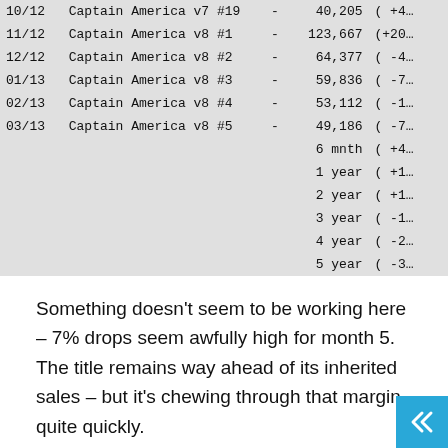| Date | Title |  | Sales | Change |
| --- | --- | --- | --- | --- |
| 10/12 | Captain America v7 #19 | - | 40,205 | ( +4… |
| 11/12 | Captain America v8 #1 | - | 123,667 | (+20… |
| 12/12 | Captain America v8 #2 | - | 64,377 | ( -4… |
| 01/13 | Captain America v8 #3 | - | 59,836 | ( -7… |
| 02/13 | Captain America v8 #4 | - | 53,112 | ( -1… |
| 03/13 | Captain America v8 #5 | - | 49,186 | ( -7… |
|  |  |  | 6 mnth | ( +4… |
|  |  |  | 1 year | ( +1… |
|  |  |  | 2 year | ( +1… |
|  |  |  | 3 year | ( -1… |
|  |  |  | 4 year | ( -2… |
|  |  |  | 5 year | ( -3… |
Something doesn't seem to be working here – 7% drops seem awfully high for month 5. The title remains way ahead of its inherited sales – but it's chewing through that margin quite quickly.